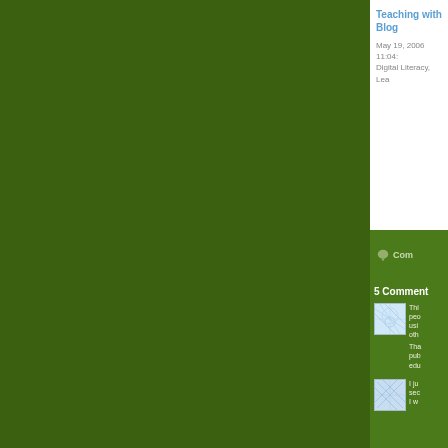Teaching with Blog
May 19, 2006 11:04:
Digital Literacy, Lea
Com
5 Comment
[Figure (illustration): Avatar thumbnail with blue network/web pattern on white background]
Thi
peo
usi
ot

Tha
pub
edu
[Figure (illustration): Avatar thumbnail with blue network lines pattern on white background]
I ju
sec
I w